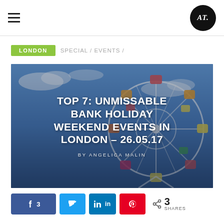AT (logo) — hamburger menu and AT circular logo
LONDON / SPECIAL / EVENTS /
[Figure (photo): Ferris wheel against a blue sky with colourful gondolas, used as hero image background for the article]
TOP 7: UNMISSABLE BANK HOLIDAY WEEKEND EVENTS IN LONDON – 26.05.17
BY ANGELICA MALIN
Facebook 3  Twitter  LinkedIn  Pinterest  < 3 SHARES